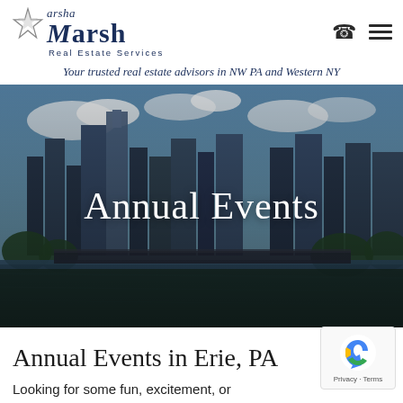[Figure (logo): Marsha Marsh Real Estate Services logo with star graphic]
Your trusted real estate advisors in NW PA and Western NY
[Figure (photo): City skyline with river in foreground, overlaid with text 'Annual Events']
Annual Events in Erie, PA
Looking for some fun, excitement, or